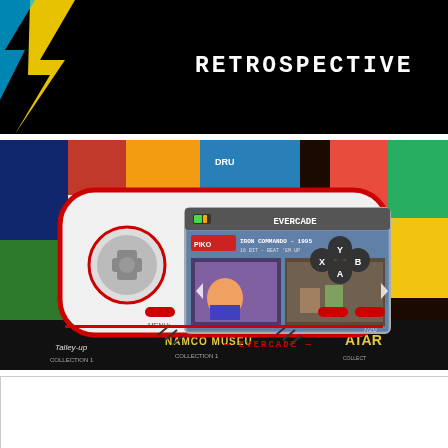[Figure (screenshot): Black background with white pixelated text reading RETROSPECTIVE and a partial colorful logo in the top left corner]
[Figure (photo): Photo of an Evercade handheld retro gaming console in white and red, displaying Iron Commando 1995 game on screen, surrounded by colorful retro game cartridge artwork background including Atari, Namco Museum, and other classic games]
Advertisements
[Figure (screenshot): MAC cosmetics advertisement showing lipsticks in purple, pink and red shades with MAC logo and SHOP NOW button]